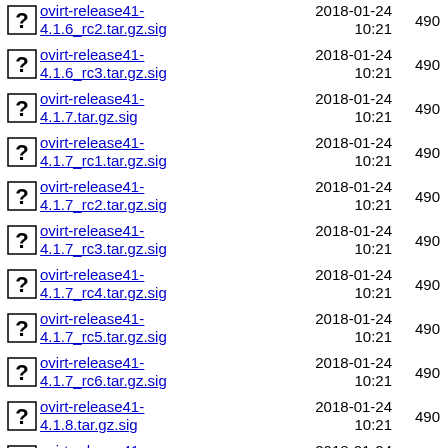ovirt-release41-4.1.6_rc2.tar.gz.sig  2018-01-24 10:21  490
ovirt-release41-4.1.6_rc3.tar.gz.sig  2018-01-24 10:21  490
ovirt-release41-4.1.7.tar.gz.sig  2018-01-24 10:21  490
ovirt-release41-4.1.7_rc1.tar.gz.sig  2018-01-24 10:21  490
ovirt-release41-4.1.7_rc2.tar.gz.sig  2018-01-24 10:21  490
ovirt-release41-4.1.7_rc3.tar.gz.sig  2018-01-24 10:21  490
ovirt-release41-4.1.7_rc4.tar.gz.sig  2018-01-24 10:21  490
ovirt-release41-4.1.7_rc5.tar.gz.sig  2018-01-24 10:21  490
ovirt-release41-4.1.7_rc6.tar.gz.sig  2018-01-24 10:21  490
ovirt-release41-4.1.8.tar.gz.sig  2018-01-24 10:21  490
ovirt-release41-4.1.8_rc1.tar.gz.sig  2018-01-24 10:21  490